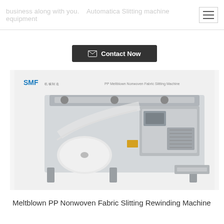business along with you.  Automatica Slitting machine equipment
Contact Now
[Figure (photo): PP Meltblown Nonwoven Fabric Slitting Machine - industrial slitting and rewinding machine shown at an angle, light grey color with rollers and fabric feed mechanism]
Meltblown PP Nonwoven Fabric Slitting Rewinding Machine
Contact Now